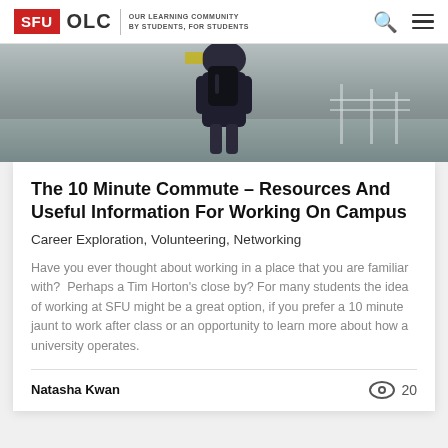SFU OLC | OUR LEARNING COMMUNITY BY STUDENTS, FOR STUDENTS
[Figure (photo): A person wearing a dark backpack and jacket, photographed from behind on a campus or outdoor setting with railing visible.]
The 10 Minute Commute – Resources And Useful Information For Working On Campus
Career Exploration, Volunteering, Networking
Have you ever thought about working in a place that you are familiar with?  Perhaps a Tim Horton's close by? For many students the idea of working at SFU might be a great option, if you prefer a 10 minute jaunt to work after class or an opportunity to learn more about how a university operates.
Natasha Kwan
20